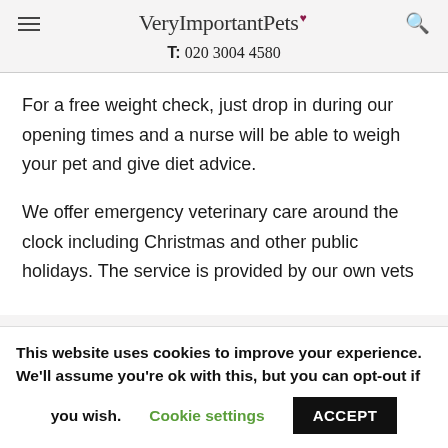VeryImportantPets♥
T: 020 3004 4580
For a free weight check, just drop in during our opening times and a nurse will be able to weigh your pet and give diet advice.
We offer emergency veterinary care around the clock including Christmas and other public holidays. The service is provided by our own vets
This website uses cookies to improve your experience. We'll assume you're ok with this, but you can opt-out if you wish. Cookie settings ACCEPT